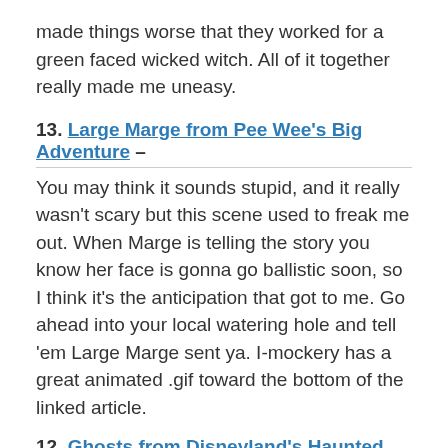made things worse that they worked for a green faced wicked witch. All of it together really made me uneasy.
13. Large Marge from Pee Wee's Big Adventure – You may think it sounds stupid, and it really wasn't scary but this scene used to freak me out. When Marge is telling the story you know her face is gonna go ballistic soon, so I think it's the anticipation that got to me. Go ahead into your local watering hole and tell 'em Large Marge sent ya. I-mockery has a great animated .gif toward the bottom of the linked article.
12. Ghosts from Disneyland's Haunted Mansion Ride – To the average person and even children